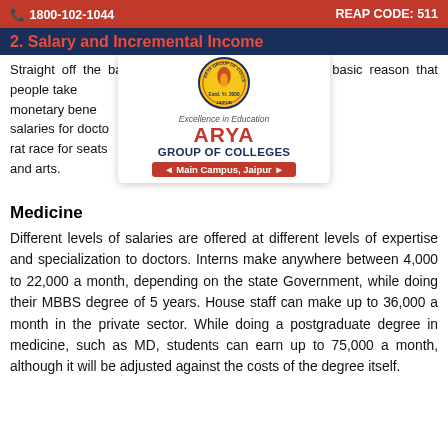1800-102-1044  REAP CODE: 511
2. Salary and Incremental Income
Straight off the bat, one needs to address the most basic reason that people take courses in the first place: the monetary benefit... The high income salaries for doctors... so why there is a rat race for seats... red to commerce and arts.
[Figure (logo): Arya Group of Colleges logo with emblem, tagline 'Excellence in Education', college name in red and blue, and 'Main Campus, Jaipur' banner]
Medicine
Different levels of salaries are offered at different levels of expertise and specialization to doctors. Interns make anywhere between 4,000 to 22,000 a month, depending on the state Government, while doing their MBBS degree of 5 years. House staff can make up to 36,000 a month in the private sector. While doing a postgraduate degree in medicine, such as MD, students can earn up to 75,000 a month, although it will be adjusted against the costs of the degree itself.